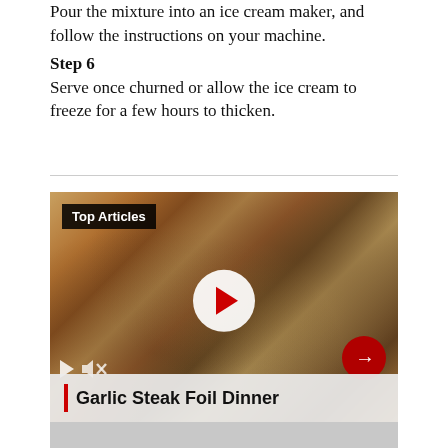Pour the mixture into an ice cream maker, and follow the instructions on your machine.
Step 6
Serve once churned or allow the ice cream to freeze for a few hours to thicken.
[Figure (screenshot): Video player thumbnail showing a casserole dish with mushroom and cheese topping. Contains 'Top Articles' badge, play button, mute icon, arrow navigation button, and caption bar reading 'Garlic Steak Foil Dinner'.]